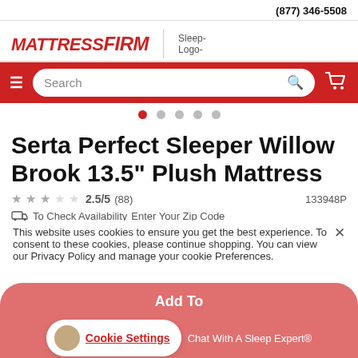(877) 346-5508
[Figure (logo): Mattress Firm logo (red italic bold text) and Sleep Logo placeholder image]
[Figure (screenshot): Red navigation bar with hamburger menu, search box, and cart icon]
[Figure (other): Carousel dots — 5 dots, first one red/active, rest gray]
Serta Perfect Sleeper Willow Brook 13.5" Plush Mattress
2.5/5 (88)   133948P
To Check Availability Enter Your Zip Code
This website uses cookies to ensure you get the best experience. To consent to these cookies, please continue shopping. You can view our Privacy Policy and manage your cookie Preferences.
Add To
Cookie Settings   Chat With A Sleep Expert®